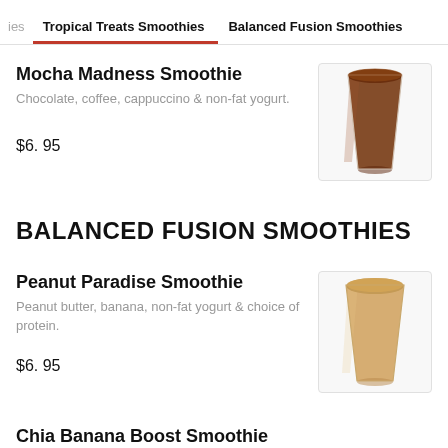ies   Tropical Treats Smoothies   Balanced Fusion Smoothies
Mocha Madness Smoothie
Chocolate, coffee, cappuccino & non-fat yogurt.
$6.95
[Figure (photo): A tall glass cup filled with brown chocolate-mocha smoothie]
BALANCED FUSION SMOOTHIES
Peanut Paradise Smoothie
Peanut butter, banana, non-fat yogurt & choice of protein.
$6.95
[Figure (photo): A tall cup filled with a peanut butter beige colored smoothie]
Chia Banana Boost Smoothie